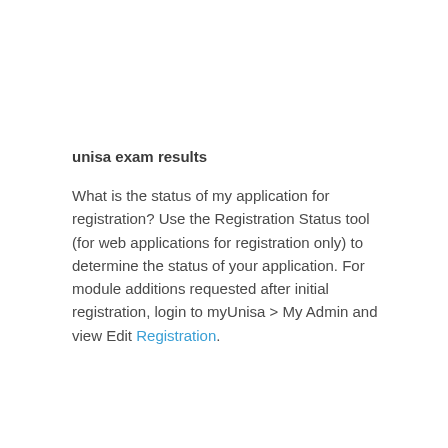unisa exam results
What is the status of my application for registration? Use the Registration Status tool (for web applications for registration only) to determine the status of your application. For module additions requested after initial registration, login to myUnisa > My Admin and view Edit Registration.